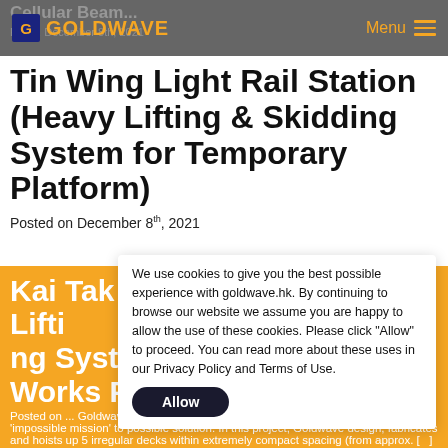GOLDWAVE — Menu
Tin Wing Light Rail Station (Heavy Lifting & Skidding System for Temporary Platform)
Posted on December 8th, 2021
Kai Tak NKIL 6568 (Heavy Lifting System for Temporary Works Platform)
Posted on ... Goldwave's ingenious heavy lifting system is a breakthrough to turn 'impossible mission' to possible solution. In this project, Goldwave design, fabricates and hoists up 5 irregular decks within extremely compact spacing (from approx. [x] meters) from 5th floor to 28th floor to support the construction of a massive concrete transfer slab permanently in...
We use cookies to give you the best possible experience with goldwave.hk. By continuing to browse our website we assume you are happy to allow the use of these cookies. Please click "Allow" to proceed. You can read more about these uses in our Privacy Policy and Terms of Use.